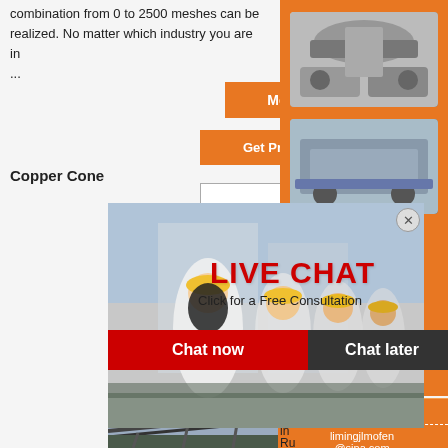combination from 0 to 2500 meshes can be realized. No matter which industry you are in ...
More
Get Price
Copper Cone
[Figure (photo): Live chat popup with woman in hard hat and colleagues, LIVE CHAT heading, Click for a Free Consultation, Chat now and Chat later buttons]
[Figure (photo): Industrial machinery/conveyor belt equipment photo]
[Figure (photo): Industrial conveyor belt system photo]
[Figure (photo): Right sidebar orange background with mining/crushing machinery images]
Enjoy 3% discount
Click to Chat
In
Ni
in
Ru
Enquiry
limingjlmofen@sina.com